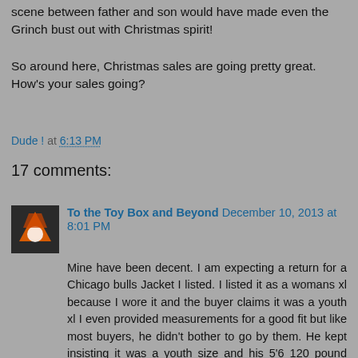scene between father and son would have made even the Grinch bust out with Christmas spirit!
So around here, Christmas sales are going pretty great. How's your sales going?
Dude ! at 6:13 PM
17 comments:
To the Toy Box and Beyond  December 10, 2013 at 8:01 PM
Mine have been decent. I am expecting a return for a Chicago bulls Jacket I listed. I listed it as a womans xl because I wore it and the buyer claims it was a youth xl I even provided measurements for a good fit but like most buyers, he didn't bother to go by them. He kept insisting it was a youth size and his 5'6 120 pound wife could not wear it. hmmm Im the same height but about 40 pounds heavier and I had no problem wearing it. He also addressed me as